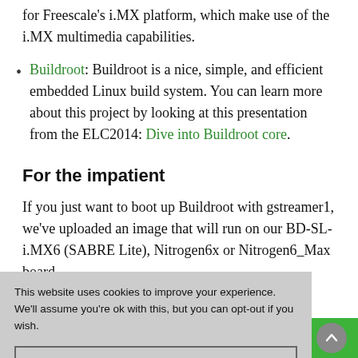for Freescale's i.MX platform, which make use of the i.MX multimedia capabilities.
Buildroot: Buildroot is a nice, simple, and efficient embedded Linux build system. You can learn more about this project by looking at this presentation from the ELC2014: Dive into Buildroot core.
For the impatient
If you just want to boot up Buildroot with gstreamer1, we've uploaded an image that will run on our BD-SL-i.MX6 (SABRE Lite), Nitrogen6x or Nitrogen6_Max board.
...content, so you will...log in before you can...wnload the image
This website uses cookies to improve your experience. We'll assume you're ok with this, but you can opt-out if you wish.
ACCEPT
e website is inaccurate. Contact us for availability. DISMISS